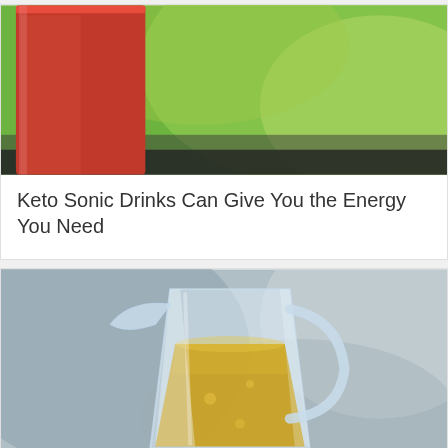[Figure (photo): A red smoothie drink in a glass cup on a green background, partially cropped at top]
Keto Sonic Drinks Can Give You the Energy You Need
[Figure (photo): A glass pitcher/jug containing golden olive oil on a blurred gray-blue background]
Olives Keto Friendly – Facial Cleanser For